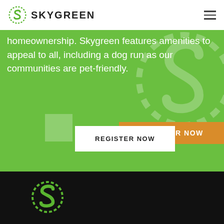[Figure (logo): Skygreen logo with stylized S icon and brand name SKYGREEN in bold uppercase]
homeownership. Skygreen features amenities to appeal to all, including a dog run as our communities are pet-friendly.
REGISTER NOW
REGISTER NOW
[Figure (logo): Skygreen icon logo (stylized S in circle) in green on black background]